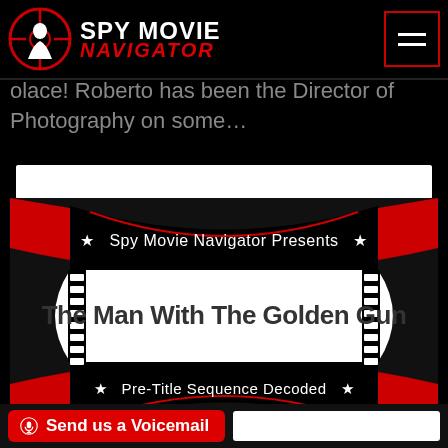SPY MOVIE NAVIGATOR
Solace! Roberto has been the Director of Photography on some…
[Figure (logo): Spy Movie Navigator Presents - The Man With The Golden Gun - Pre-Title Sequence Decoded badge graphic with red and black ticket-style design, stars, and bold typography]
🎙 Send us a Voicemail